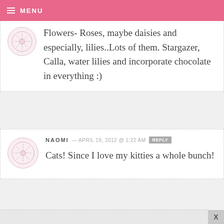MENU
Flowers- Roses, maybe daisies and especially, lilies..Lots of them. Stargazer, Calla, water lilies and incorporate chocolate in everything :)
NAOMI — APRIL 19, 2012 @ 1:22 AM  REPLY
Cats! Since I love my kitties a whole bunch!